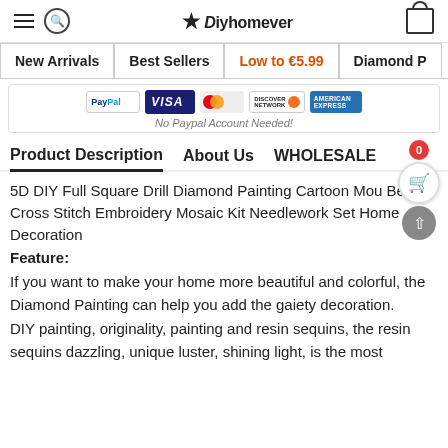Diyhomever — navigation header with hamburger menu, search, logo, and cart icon
New Arrivals | Best Sellers | Low to €5.99 | Diamond P...
[Figure (other): Payment method logos: PayPal, VISA, Mastercard, Discover, American Express. Caption: No Paypal Account Needed!]
No Paypal Account Needed!
Product Description | About Us | WHOLESALE
5D DIY Full Square Drill Diamond Painting Cartoon Mou Bear Cross Stitch Embroidery Mosaic Kit Needlework Set Home Decoration
Feature:
If you want to make your home more beautiful and colorful, the Diamond Painting can help you add the gaiety decoration.
DIY painting, originality, painting and resin sequins, the resin sequins dazzling, unique luster, shining light, is the most